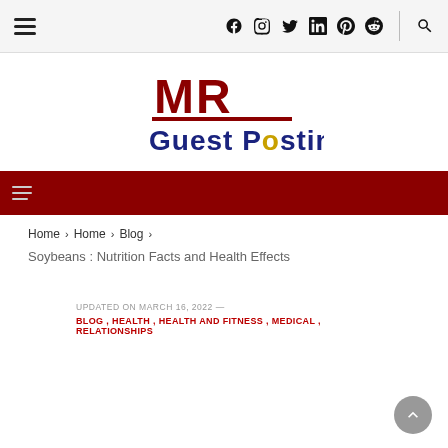Navigation bar with hamburger menu, social icons (Facebook, Instagram, Twitter, LinkedIn, Pinterest, Reddit), and search icon
[Figure (logo): MR Guest Posting logo — red MR letters on top, blue 'Guest Posting' text below]
Red navigation bar with hamburger menu
Home › Home › Blog ›
Soybeans : Nutrition Facts and Health Effects
UPDATED ON MARCH 16, 2022 —
BLOG , HEALTH , HEALTH AND FITNESS , MEDICAL , RELATIONSHIPS